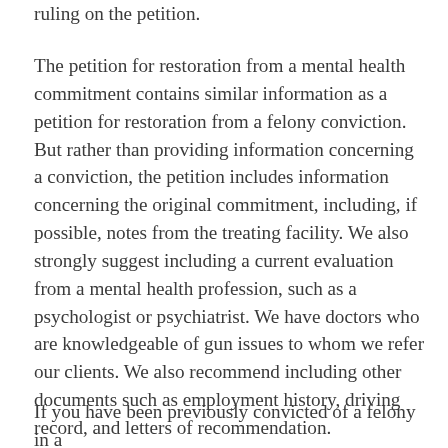ruling on the petition.
The petition for restoration from a mental health commitment contains similar information as a petition for restoration from a felony conviction. But rather than providing information concerning a conviction, the petition includes information concerning the original commitment, including, if possible, notes from the treating facility. We also strongly suggest including a current evaluation from a mental health profession, such as a psychologist or psychiatrist. We have doctors who are knowledgeable of gun issues to whom we refer our clients. We also recommend including other documents such as employment history, driving record, and letters of recommendation.
If you have been previously convicted of a felony in a